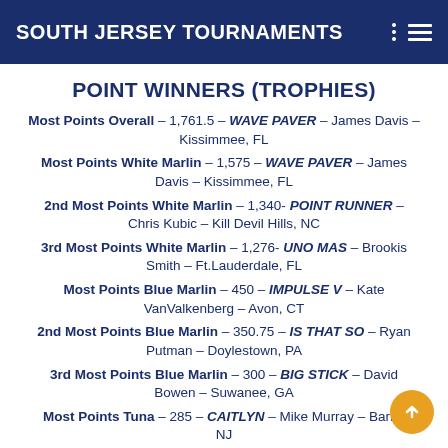SOUTH JERSEY TOURNAMENTS
POINT WINNERS (TROPHIES)
Most Points Overall – 1,761.5 – WAVE PAVER – James Davis – Kissimmee, FL
Most Points White Marlin – 1,575 – WAVE PAVER – James Davis – Kissimmee, FL
2nd Most Points White Marlin – 1,340- POINT RUNNER – Chris Kubic – Kill Devil Hills, NC
3rd Most Points White Marlin – 1,276- UNO MAS – Brookis Smith – Ft.Lauderdale, FL
Most Points Blue Marlin – 450 – IMPULSE V – Kate VanValkenberg – Avon, CT
2nd Most Points Blue Marlin – 350.75 – IS THAT SO – Ryan Putman – Doylestown, PA
3rd Most Points Blue Marlin – 300 – BIG STICK – David Bowen – Suwanee, GA
Most Points Tuna – 285 – CAITLYN – Mike Murray – Barnegat, NJ
2nd Most Points Tuna – 252.5 – FIRST DRAW – Dan Fabbri –